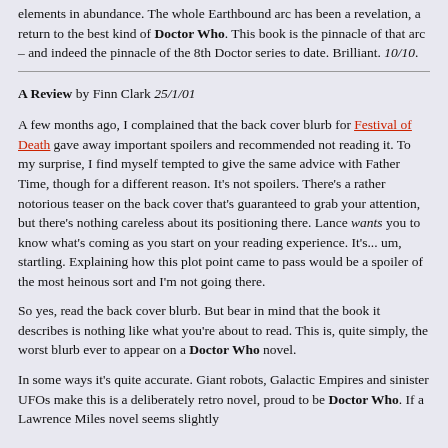elements in abundance. The whole Earthbound arc has been a revelation, a return to the best kind of Doctor Who. This book is the pinnacle of that arc – and indeed the pinnacle of the 8th Doctor series to date. Brilliant. 10/10.
A Review by Finn Clark 25/1/01
A few months ago, I complained that the back cover blurb for Festival of Death gave away important spoilers and recommended not reading it. To my surprise, I find myself tempted to give the same advice with Father Time, though for a different reason. It's not spoilers. There's a rather notorious teaser on the back cover that's guaranteed to grab your attention, but there's nothing careless about its positioning there. Lance wants you to know what's coming as you start on your reading experience. It's... um, startling. Explaining how this plot point came to pass would be a spoiler of the most heinous sort and I'm not going there.
So yes, read the back cover blurb. But bear in mind that the book it describes is nothing like what you're about to read. This is, quite simply, the worst blurb ever to appear on a Doctor Who novel.
In some ways it's quite accurate. Giant robots, Galactic Empires and sinister UFOs make this is a deliberately retro novel, proud to be Doctor Who. If a Lawrence Miles novel seems slightly